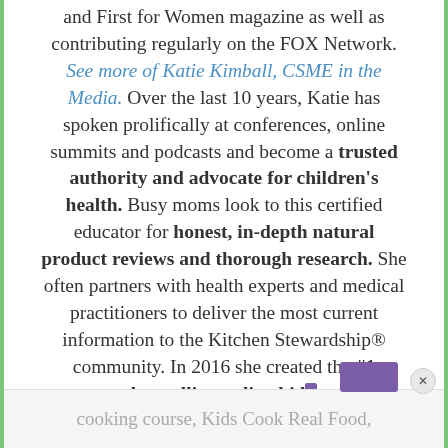and First for Women magazine as well as contributing regularly on the FOX Network. See more of Katie Kimball, CSME in the Media. Over the last 10 years, Katie has spoken prolifically at conferences, online summits and podcasts and become a trusted authority and advocate for children's health. Busy moms look to this certified educator for honest, in-depth natural product reviews and thorough research. She often partners with health experts and medical practitioners to deliver the most current information to the Kitchen Stewardship® community. In 2016 she created the #1 bestselling online kids cooking course, Kids Cook Real Food, helping thousands of families around the